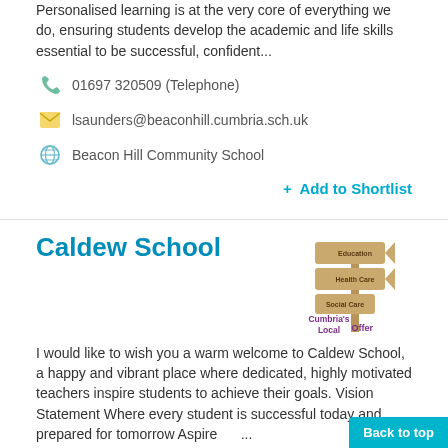Personalised learning is at the very core of everything we do, ensuring students develop the academic and life skills essential to be successful, confident...
01697 320509 (Telephone)
lsaunders@beaconhill.cumbria.sch.uk
Beacon Hill Community School
+ Add to Shortlist
Caldew School
[Figure (logo): Cumbria's Local Offer signpost logo in brown/tan and purple text]
I would like to wish you a warm welcome to Caldew School, a happy and vibrant place where dedicated, highly motivated teachers inspire students to achieve their goals. Vision Statement Where every student is successful today and prepared for tomorrow Aspire      ...
01228 710044
vicki.jackson@cumbria.sch.uk
Caldew School
+ Add to Shortlist
Back to top